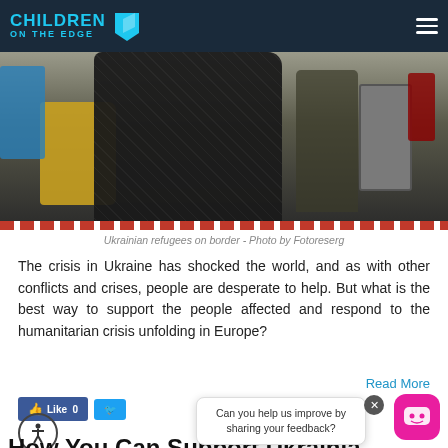CHILDREN ON THE EDGE
[Figure (photo): Crowd of Ukrainian refugees at a border crossing, person in dark quilted jacket with yellow bag prominent in foreground, luggage visible in background, red and white barrier tape at bottom]
Ukrainian refugees on border - Photo by Fotoreserg
The crisis in Ukraine has shocked the world, and as with other conflicts and crises, people are desperate to help. But what is the best way to support the people affected and respond to the humanitarian crisis unfolding in Europe?
Read More
Like 0
Can you help us improve by sharing your feedback?
How You Can Support Ukrainian...